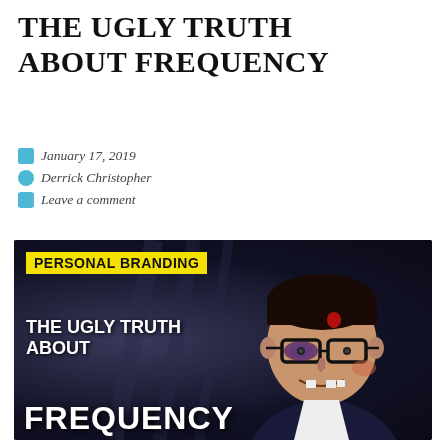THE UGLY TRUTH ABOUT FREQUENCY
January 17, 2019
Derrick Christopher
Leave a comment
[Figure (photo): Thumbnail image showing a man in a suit and bow tie with comical injuries (black eye, missing tooth, bruises) over a dark background. Text overlay reads 'PERSONAL BRANDING' in yellow, and 'THE UGLY TRUTH ABOUT FREQUENCY' in white bold text.]